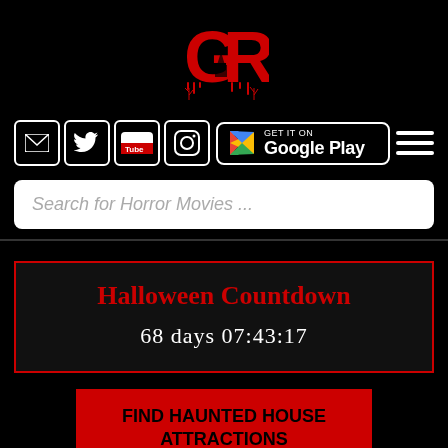[Figure (logo): GR horror website logo in red stylized letters with haunted house silhouette]
[Figure (infographic): Navigation row with social media icons (email, Twitter, YouTube, Instagram), Google Play store button, and hamburger menu]
Search for Horror Movies ...
Halloween Countdown
68 days 07:43:17
FIND HAUNTED HOUSE ATTRACTIONS